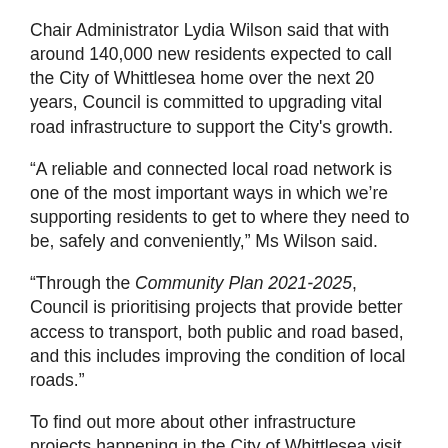Chair Administrator Lydia Wilson said that with around 140,000 new residents expected to call the City of Whittlesea home over the next 20 years, Council is committed to upgrading vital road infrastructure to support the City's growth.
“A reliable and connected local road network is one of the most important ways in which we’re supporting residents to get to where they need to be, safely and conveniently,” Ms Wilson said.
“Through the Community Plan 2021-2025, Council is prioritising projects that provide better access to transport, both public and road based, and this includes improving the condition of local roads.”
To find out more about other infrastructure projects happening in the City of Whittlesea visit whittlesea.vic.gov.au/majorprojects